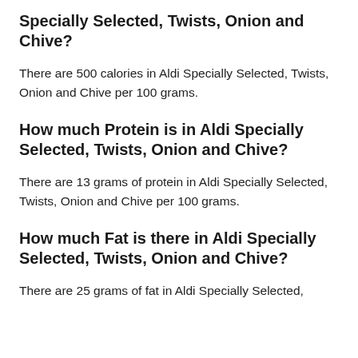Specially Selected, Twists, Onion and Chive?
There are 500 calories in Aldi Specially Selected, Twists, Onion and Chive per 100 grams.
How much Protein is in Aldi Specially Selected, Twists, Onion and Chive?
There are 13 grams of protein in Aldi Specially Selected, Twists, Onion and Chive per 100 grams.
How much Fat is there in Aldi Specially Selected, Twists, Onion and Chive?
There are 25 grams of fat in Aldi Specially Selected,